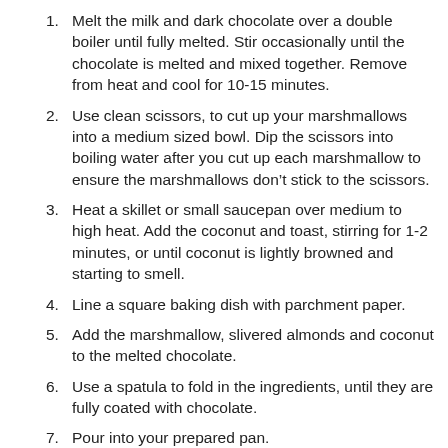Melt the milk and dark chocolate over a double boiler until fully melted. Stir occasionally until the chocolate is melted and mixed together. Remove from heat and cool for 10-15 minutes.
Use clean scissors, to cut up your marshmallows into a medium sized bowl. Dip the scissors into boiling water after you cut up each marshmallow to ensure the marshmallows don't stick to the scissors.
Heat a skillet or small saucepan over medium to high heat. Add the coconut and toast, stirring for 1-2 minutes, or until coconut is lightly browned and starting to smell.
Line a square baking dish with parchment paper.
Add the marshmallow, slivered almonds and coconut to the melted chocolate.
Use a spatula to fold in the ingredients, until they are fully coated with chocolate.
Pour into your prepared pan.